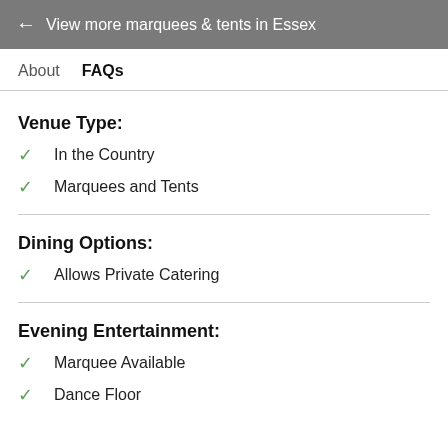← View more marquees & tents in Essex
About   FAQs
Venue Type:
✓ In the Country
✓ Marquees and Tents
Dining Options:
✓ Allows Private Catering
Evening Entertainment:
✓ Marquee Available
✓ Dance Floor